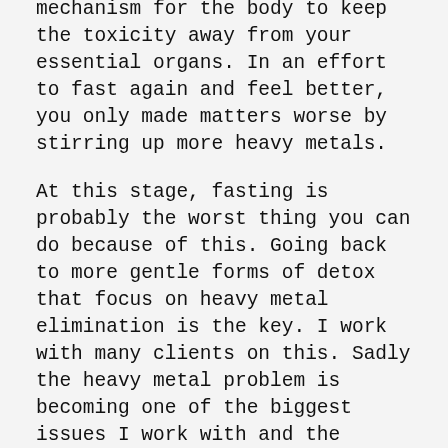mechanism for the body to keep the toxicity away from your essential organs. In an effort to fast again and feel better, you only made matters worse by stirring up more heavy metals.
At this stage, fasting is probably the worst thing you can do because of this. Going back to more gentle forms of detox that focus on heavy metal elimination is the key. I work with many clients on this. Sadly the heavy metal problem is becoming one of the biggest issues I work with and the devastating effects are huge. Most common types of heavy metal contamination are arsenic,